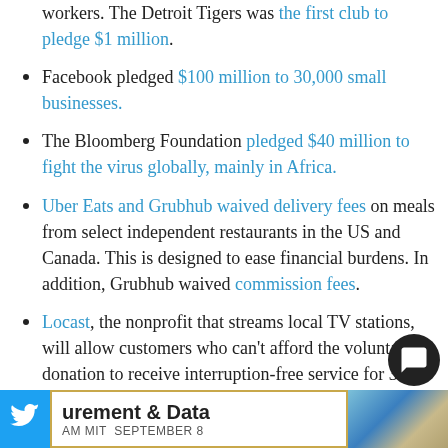workers. The Detroit Tigers was the first club to pledge $1 million.
Facebook pledged $100 million to 30,000 small businesses.
The Bloomberg Foundation pledged $40 million to fight the virus globally, mainly in Africa.
Uber Eats and Grubhub waived delivery fees on meals from select independent restaurants in the US and Canada. This is designed to ease financial burdens. In addition, Grubhub waived commission fees.
Locast, the nonprofit that streams local TV stations, will allow customers who can't afford the voluntary donation to receive interruption-free service for 30 days. Local TV news is critical during coronavirus, Locast said. Send an email to admin@locast.org
[Figure (screenshot): Footer banner with Twitter bird icon on blue background, text 'urement & Data' in bold and 'AM MIT SEPTEMBER 8' below, with a city skyline image on the right.]